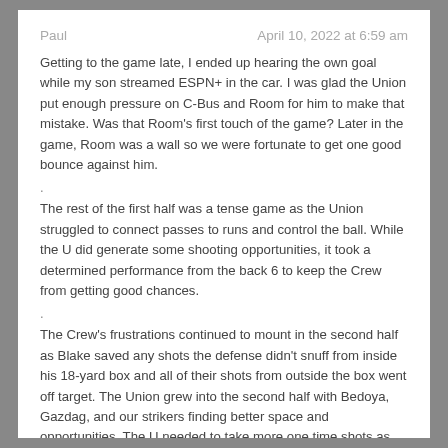Paul | April 10, 2022 at 6:59 am
Getting to the game late, I ended up hearing the own goal while my son streamed ESPN+ in the car. I was glad the Union put enough pressure on C-Bus and Room for him to make that mistake. Was that Room's first touch of the game? Later in the game, Room was a wall so we were fortunate to get one good bounce against him.
The rest of the first half was a tense game as the Union struggled to connect passes to runs and control the ball. While the U did generate some shooting opportunities, it took a determined performance from the back 6 to keep the Crew from getting good chances.
The Crew's frustrations continued to mount in the second half as Blake saved any shots the defense didn't snuff from inside his 18-yard box and all of their shots from outside the box went off target. The Union grew into the second half with Bedoya, Gazdag, and our strikers finding better space and opportunities. The U needed to take more one time shots as the Crew smothered everything they could get set in front of and the Union should work on pouncing on the chances they generate.